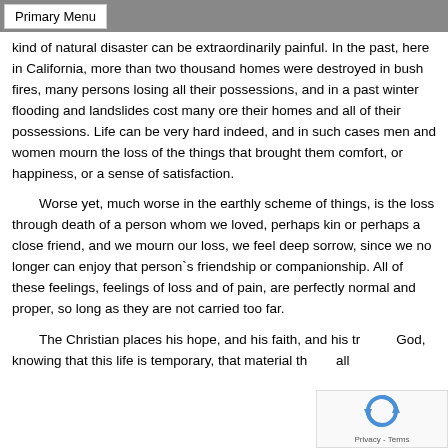Primary Menu
kind of natural disaster can be extraordinarily painful. In the past, here in California, more than two thousand homes were destroyed in bush fires, many persons losing all their possessions, and in a past winter flooding and landslides cost many ore their homes and all of their possessions. Life can be very hard indeed, and in such cases men and women mourn the loss of the things that brought them comfort, or happiness, or a sense of satisfaction.
Worse yet, much worse in the earthly scheme of things, is the loss through death of a person whom we loved, perhaps kin or perhaps a close friend, and we mourn our loss, we feel deep sorrow, since we no longer can enjoy that person`s friendship or companionship. All of these feelings, feelings of loss and of pain, are perfectly normal and proper, so long as they are not carried too far.
The Christian places his hope, and his faith, and his tr... God, knowing that this life is temporary, that material th... all...